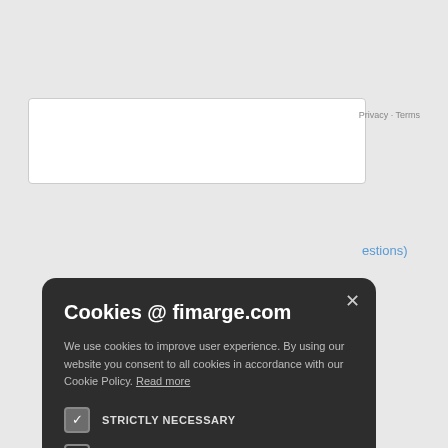Privacy · Terms
estions)
[Figure (screenshot): Cookie consent modal dialog on dark background for fimarge.com. Contains title 'Cookies @ fimarge.com', descriptive text about cookie usage with a 'Read more' link, two checkboxes (STRICTLY NECESSARY checked, TARGETING unchecked), ACCEPT ALL and DECLINE ALL buttons, and a SHOW DETAILS option with gear icon.]